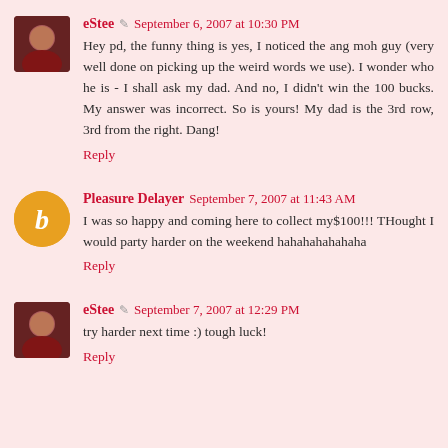eStee  September 6, 2007 at 10:30 PM
Hey pd, the funny thing is yes, I noticed the ang moh guy (very well done on picking up the weird words we use). I wonder who he is - I shall ask my dad. And no, I didn't win the 100 bucks. My answer was incorrect. So is yours! My dad is the 3rd row, 3rd from the right. Dang!
Reply
Pleasure Delayer  September 7, 2007 at 11:43 AM
I was so happy and coming here to collect my$100!!! THought I would party harder on the weekend hahahahahahaha
Reply
eStee  September 7, 2007 at 12:29 PM
try harder next time :) tough luck!
Reply